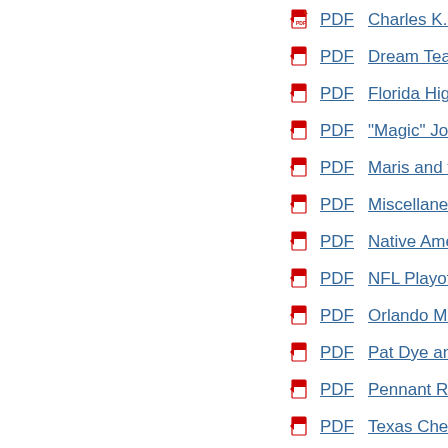PDF  Charles K. McNeil a
PDF  Dream Team - Impo
PDF  Florida High School
PDF  "Magic" Johnson an
PDF  Maris and the * - Dre
PDF  Miscellaneous Stori
PDF  Native American Ma
PDF  NFL Playoffs Begin
PDF  Orlando Magic Aren
PDF  Pat Dye and The Ra
PDF  Pennant Races - Th
PDF  Texas Cheerleader M